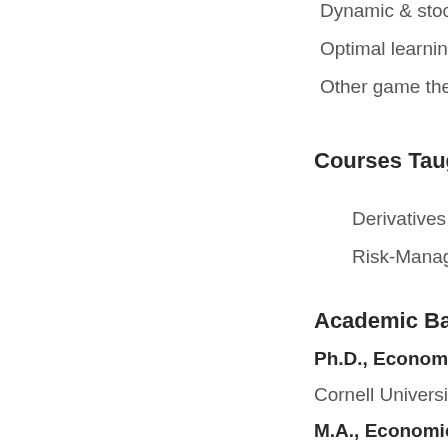Dynamic & stoc
Optimal learning
Other game the
Courses Taught
Derivatives Pric
Risk-Manageme
Academic Backgro
Ph.D., Economics, 19
Cornell University
M.A., Economics, 198
Cornell University
M.B.A., Operations, 1
Indian Institute of Man